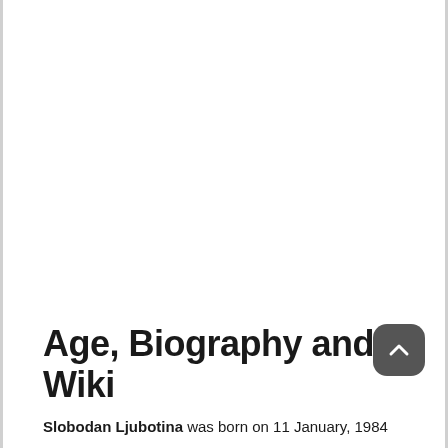Age, Biography and Wiki
Slobodan Ljubotina was born on 11 January, 1984